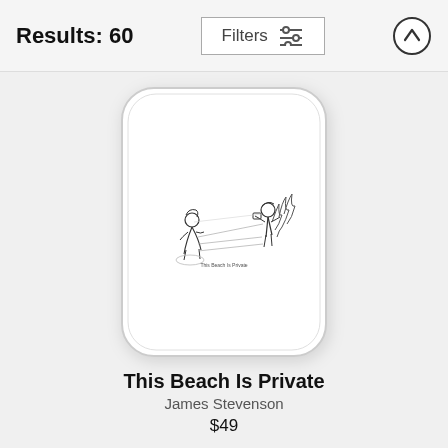Results: 60
Filters
[Figure (photo): A white smartphone case displaying a New Yorker-style cartoon illustration of a beach scene with two figures and text caption 'This Beach Is Private']
This Beach Is Private
James Stevenson
$49